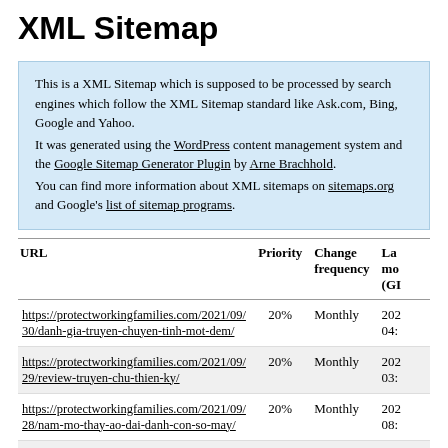XML Sitemap
This is a XML Sitemap which is supposed to be processed by search engines which follow the XML Sitemap standard like Ask.com, Bing, Google and Yahoo.
It was generated using the WordPress content management system and the Google Sitemap Generator Plugin by Arne Brachhold.
You can find more information about XML sitemaps on sitemaps.org and Google's list of sitemap programs.
| URL | Priority | Change frequency | Last modified (GMT) |
| --- | --- | --- | --- |
| https://protectworkingfamilies.com/2021/09/30/danh-gia-truyen-chuyen-tinh-mot-dem/ | 20% | Monthly | 202... 04:... |
| https://protectworkingfamilies.com/2021/09/29/review-truyen-chu-thien-ky/ | 20% | Monthly | 202... 03:... |
| https://protectworkingfamilies.com/2021/09/28/nam-mo-thay-ao-dai-danh-con-so-may/ | 20% | Monthly | 202... 08:... |
| https://protectworkingfamilies.com/2021/09/28/nhan-xet-truyen-ban-den-tre/ | 20% | Monthly | 202... 04:... |
| https://protectworkingfamilies.com/2021/09/28/nam-mo-thay-ghe-bi-gay-co-y-nghia-gi-nen-danh-lo-con-gi/ | 20% | Monthly | 202... 03:... |